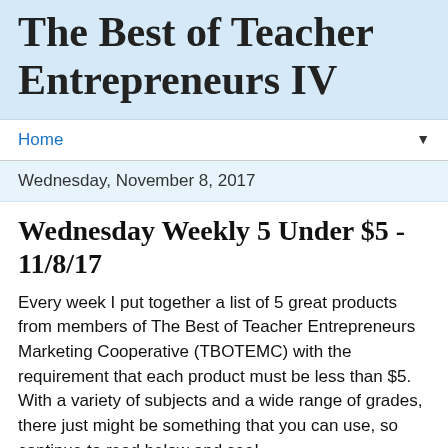The Best of Teacher Entrepreneurs IV
Home ▼
Wednesday, November 8, 2017
Wednesday Weekly 5 Under $5 - 11/8/17
Every week I put together a list of 5 great products from members of The Best of Teacher Entrepreneurs Marketing Cooperative (TBOTEMC) with the requirement that each product must be less than $5.  With a variety of subjects and a wide range of grades, there just might be something that you can use, so continue to read below and see!
In addition, if you're a seller on Teachers Pay Teachers (TpT) that would like to join the Wednesday